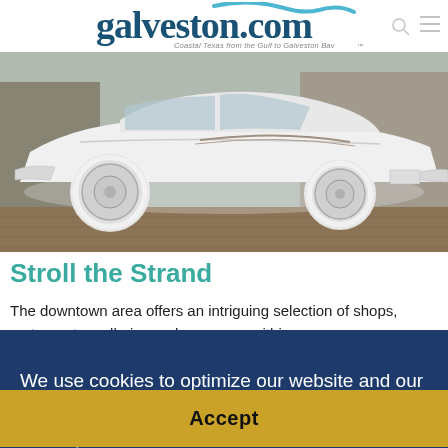[Figure (logo): galveston.com logo with wave graphic and tagline 'Coastal Texas from the Gulf to Galveston Bay']
[Figure (photo): A vintage white convertible car (1950s style) with whitewall tires parked on a brick street, side profile view]
Stroll the Strand
The downtown area offers an intriguing selection of shops, restaurants, galleries and museums within a
We use cookies to optimize our website and our service. Cookie Policy (US) - Privacy statement
Accept